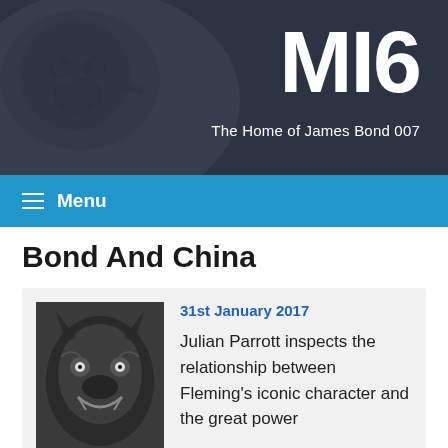MI6 — The Home of James Bond 007
Bond And China
31st January 2017
Julian Parrott inspects the relationship between Fleming's iconic character and the great power